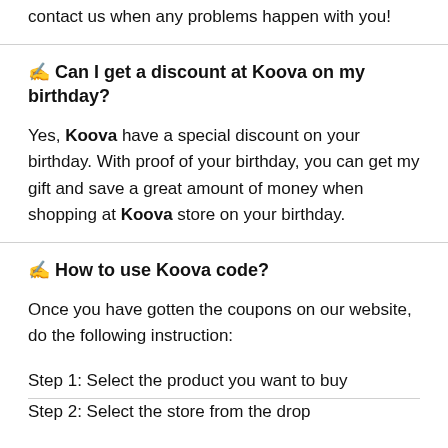contact us when any problems happen with you!
✍ Can I get a discount at Koova on my birthday?
Yes, Koova have a special discount on your birthday. With proof of your birthday, you can get my gift and save a great amount of money when shopping at Koova store on your birthday.
✍ How to use Koova code?
Once you have gotten the coupons on our website, do the following instruction:
Step 1: Select the product you want to buy
Step 2: Select the store from the dropdown menu